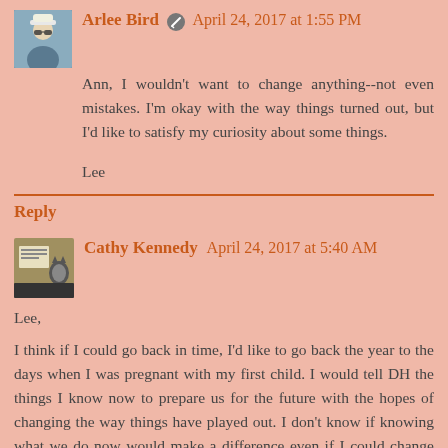Arlee Bird  April 24, 2017 at 1:55 PM
Ann, I wouldn't want to change anything--not even mistakes. I'm okay with the way things turned out, but I'd like to satisfy my curiosity about some things.

Lee
Reply
Cathy Kennedy  April 24, 2017 at 5:40 AM
Lee,

I think if I could go back in time, I'd like to go back the year to the days when I was pregnant with my first child. I would tell DH the things I know now to prepare us for the future with the hopes of changing the way things have played out. I don't know if knowing what we do now would make a difference even if I could change this but it would be worth the try. I don't regret the way things turned out but at the